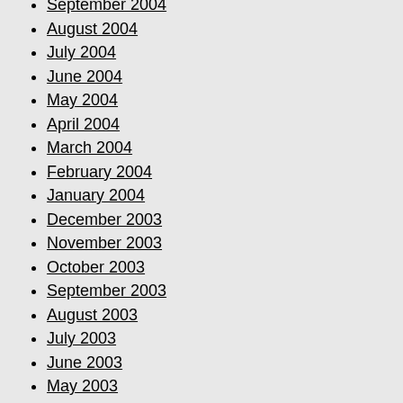September 2004
August 2004
July 2004
June 2004
May 2004
April 2004
March 2004
February 2004
January 2004
December 2003
November 2003
October 2003
September 2003
August 2003
July 2003
June 2003
May 2003
April 2003
March 2003
February 2003
January 2003
December 2002
November 2002
October 2002
September 2002
August 2002